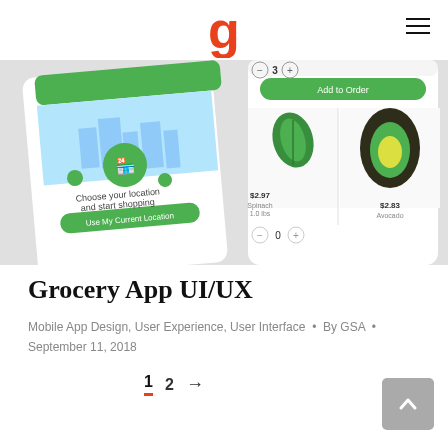g logo and hamburger menu
[Figure (screenshot): Screenshot of a grocery mobile app UI showing phone mockups with a location selection screen (Choose your location and start shopping) featuring a green city map illustration, and a grocery product listing screen showing spinach and avocado items with prices.]
Grocery App UI/UX
Mobile App Design, User Experience, User Interface • By GSA • September 11, 2018
1 2 →